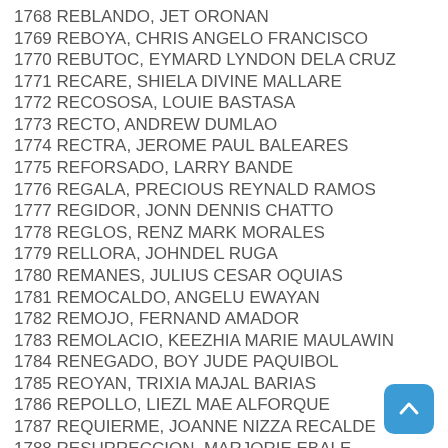1768 REBLANDO, JET ORONAN
1769 REBOYA, CHRIS ANGELO FRANCISCO
1770 REBUTOC, EYMARD LYNDON DELA CRUZ
1771 RECARE, SHIELA DIVINE MALLARE
1772 RECOSOSA, LOUIE BASTASA
1773 RECTO, ANDREW DUMLAO
1774 RECTRA, JEROME PAUL BALEARES
1775 REFORSADO, LARRY BANDE
1776 REGALA, PRECIOUS REYNALD RAMOS
1777 REGIDOR, JONN DENNIS CHATTO
1778 REGLOS, RENZ MARK MORALES
1779 RELLORA, JOHNDEL RUGA
1780 REMANES, JULIUS CESAR OQUIAS
1781 REMOCALDO, ANGELU EWAYAN
1782 REMOJO, FERNAND AMADOR
1783 REMOLACIO, KEEZHIA MARIE MAULAWIN
1784 RENEGADO, BOY JUDE PAQUIBOL
1785 REOYAN, TRIXIA MAJAL BARIAS
1786 REPOLLO, LIEZL MAE ALFORQUE
1787 REQUIERME, JOANNE NIZZA RECALDE
1788 RESURRECCION, MARJORIE EBALE